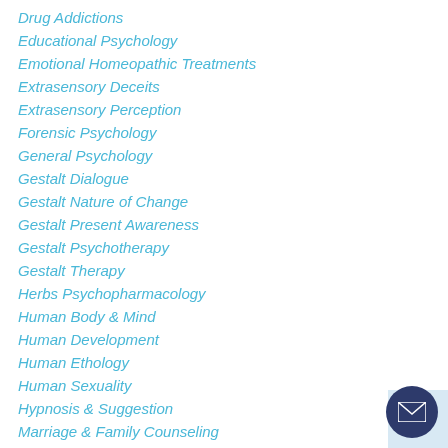Drug Addictions
Educational Psychology
Emotional Homeopathic Treatments
Extrasensory Deceits
Extrasensory Perception
Forensic Psychology
General Psychology
Gestalt Dialogue
Gestalt Nature of Change
Gestalt Present Awareness
Gestalt Psychotherapy
Gestalt Therapy
Herbs Psychopharmacology
Human Body & Mind
Human Development
Human Ethology
Human Sexuality
Hypnosis & Suggestion
Marriage & Family Counseling
Marriage & Family Relations